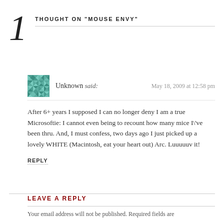1 THOUGHT ON “MOUSE ENVY”
Unknown said:
May 18, 2009 at 12:58 pm

After 6+ years I supposed I can no longer deny I am a true Microsoftie: I cannot even being to recount how many mice I've been thru. And, I must confess, two days ago I just picked up a lovely WHITE (Macintosh, eat your heart out) Arc. Luuuuuv it!
REPLY
LEAVE A REPLY
Your email address will not be published. Required fields are